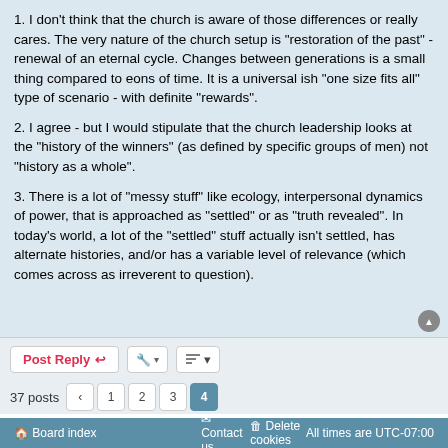1. I don't think that the church is aware of those differences or really cares. The very nature of the church setup is "restoration of the past" - renewal of an eternal cycle. Changes between generations is a small thing compared to eons of time. It is a universal ish "one size fits all" type of scenario - with definite "rewards".
2. I agree - but I would stipulate that the church leadership looks at the "history of the winners" (as defined by specific groups of men) not "history as a whole".
3. There is a lot of "messy stuff" like ecology, interpersonal dynamics of power, that is approached as "settled" or as "truth revealed". In today's world, a lot of the "settled" stuff actually isn't settled, has alternate histories, and/or has a variable level of relevance (which comes across as irreverent to question).
Board index   Contact us   Delete cookies   All times are UTC-07:00